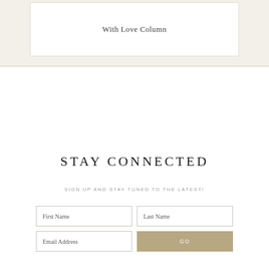With Love Column
STAY CONNECTED
SIGN UP AND STAY TUNED TO THE LATEST!
First Name
Last Name
Email Address
GO